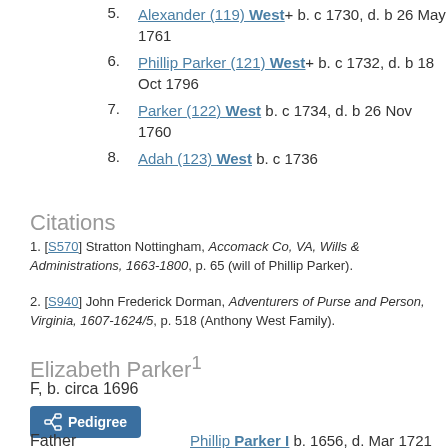5. Alexander (119) West+ b. c 1730, d. b 26 May 1761
6. Phillip Parker (121) West+ b. c 1732, d. b 18 Oct 1796
7. Parker (122) West b. c 1734, d. b 26 Nov 1760
8. Adah (123) West b. c 1736
Citations
1. [S570] Stratton Nottingham, Accomack Co, VA, Wills & Administrations, 1663-1800, p. 65 (will of Phillip Parker).
2. [S940] John Frederick Dorman, Adventurers of Purse and Person, Virginia, 1607-1624/5, p. 518 (Anthony West Family).
Elizabeth Parker
F, b. circa 1696
Pedigree
Father
Phillip Parker I b. 1656, d. Mar 1721